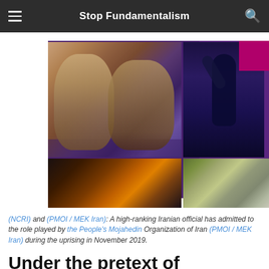Stop Fundamentalism
[Figure (photo): Collage of protest-related images: two Iranian officials' faces top-left, a protester with raised fist top-right, a fire scene bottom-left, and a large aerial crowd protest photo on the right.]
(NCRI) and (PMOI / MEK Iran): A high-ranking Iranian official has admitted to the role played by the People's Mojahedin Organization of Iran (PMOI / MEK Iran) during the uprising in November 2019.
Under the pretext of Covid-19, genocide in Iran